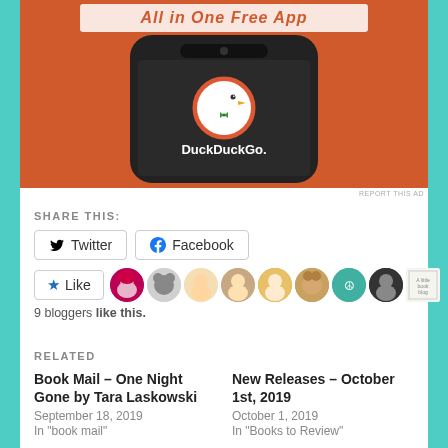[Figure (photo): DuckDuckGo all-in-one free app advertisement showing a smartphone with DuckDuckGo logo on an orange background]
REPORT THIS AD
SHARE THIS:
Twitter  Facebook  Like  9 bloggers like this.
RELATED
Book Mail – One Night Gone by Tara Laskowski
September 18, 2019
In "book mail"
New Releases – October 1st, 2019
October 1, 2019
In "Books to Review"